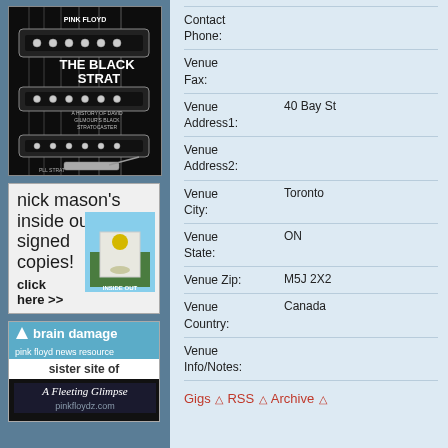[Figure (photo): Pink Floyd The Black Strat book cover showing a black electric guitar]
[Figure (illustration): Nick Mason's Inside Out signed copies advertisement with book cover image]
[Figure (illustration): Brain Damage pink floyd news resource sister site of A Fleeting Glimpse pinkfloydz.com advertisement]
Contact Phone:
Venue Fax:
Venue Address1: 40 Bay St
Venue Address2:
Venue City: Toronto
Venue State: ON
Venue Zip: M5J 2X2
Venue Country: Canada
Venue Info/Notes:
Gigs △ RSS △ Archive △